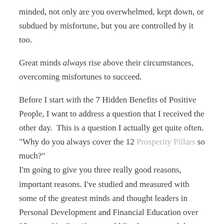minded, not only are you overwhelmed, kept down, or subdued by misfortune, but you are controlled by it too.
Great minds always rise above their circumstances, overcoming misfortunes to succeed.
Before I start with the 7 Hidden Benefits of Positive People, I want to address a question that I received the other day. This is a question I actually get quite often. "Why do you always cover the 12 Prosperity Pillars so much?" I'm going to give you three really good reasons, important reasons. I've studied and measured with some of the greatest minds and thought leaders in Personal Development and Financial Education over 25 years, Yes I'm 48 years old I've been around the block a few times. I found that there are